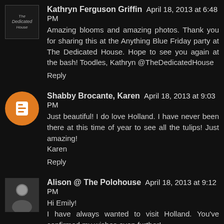Kathryn Ferguson Griffin  April 18, 2013 at 6:48 PM
Amazing blooms and amazing photos. Thank you for sharing this at the Anything Blue Friday party at The Dedicated House. Hope to see you again at the bash! Toodles, Kathryn @TheDedicatedHouse
Reply
Shabby Brocante, Karen  April 18, 2013 at 9:03 PM
Just beautiful! I do love Holland. I have never been there at this time of year to see all the tulips! Just amazing!
Karen
Reply
Alison @ The Polohouse  April 18, 2013 at 9:12 PM
Hi Emily!
I have always wanted to visit Holland. You've confirmed my wishes even further!
Thanks for sharing!